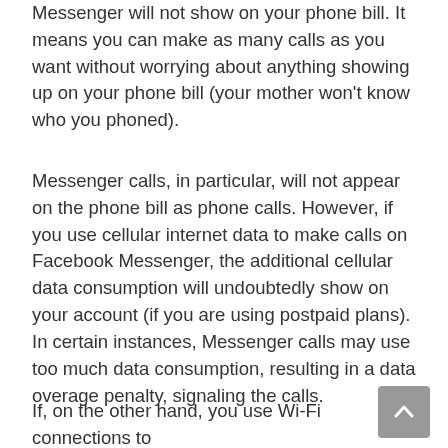Messenger will not show on your phone bill. It means you can make as many calls as you want without worrying about anything showing up on your phone bill (your mother won't know who you phoned).
Messenger calls, in particular, will not appear on the phone bill as phone calls. However, if you use cellular internet data to make calls on Facebook Messenger, the additional cellular data consumption will undoubtedly show on your account (if you are using postpaid plans). In certain instances, Messenger calls may use too much data consumption, resulting in a data overage penalty, signaling the calls.
If, on the other hand, you use Wi-Fi connections to make Messenger calls, there is no need to fear